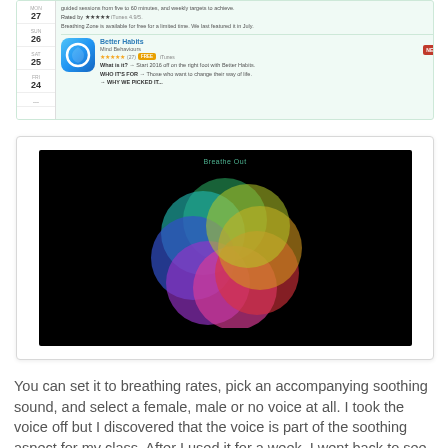[Figure (screenshot): App store listing screenshot showing Better Habits app by Mind Behaviours with star rating and free badge, alongside a calendar sidebar with days 24-27]
[Figure (screenshot): Breathe Out app screenshot on black background showing overlapping colorful translucent circles forming a flower pattern, with 'Breathe Out' text at top in green]
You can set it to breathing rates, pick an accompanying soothing sound, and select a female, male or no voice at all. I took the voice off but I discovered that the voice is part of the soothing aspect for my class.  After I used it for a week, I went back to see if it were still free for a colleague and it